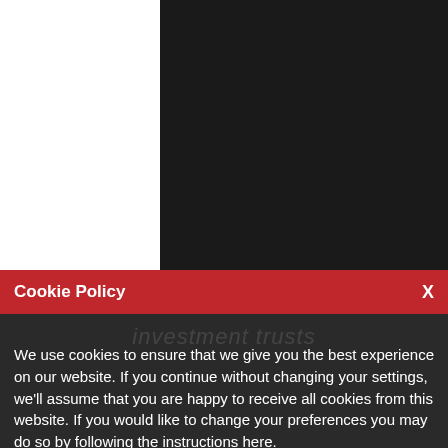[Figure (logo): abrdn logo with grey square icon and grey text on black background]
To invest with confidence, seek out experience.
Cookie Policy
investment trusts
We use cookies to ensure that we give you the best experience on our website. If you continue without changing your settings, we'll assume that you are happy to receive all cookies from this website. If you would like to change your preferences you may do so by following the instructions here.